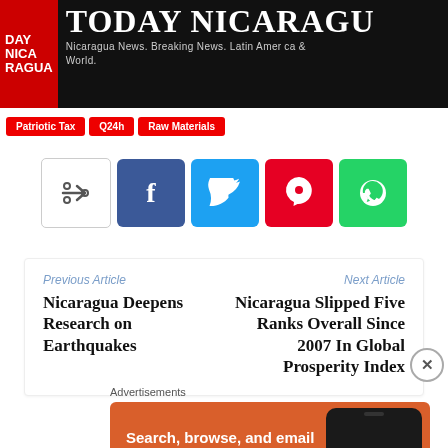TODAY NICARAGUA — Nicaragua News. Breaking News. Latin America & World.
Patriotic Tax | Q24h | Raw Materials
[Figure (other): Social share buttons: share icon (outline), Facebook (blue), Twitter (cyan), Pinterest (red), WhatsApp (green)]
Previous Article
Nicaragua Deepens Research on Earthquakes
Next Article
Nicaragua Slipped Five Ranks Overall Since 2007 In Global Prosperity Index
Advertisements
[Figure (other): DuckDuckGo advertisement: Search, browse, and email with more privacy. All in One Free App. Orange background with phone graphic and DuckDuckGo logo.]